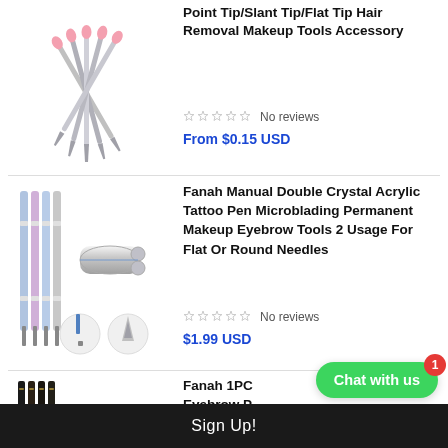[Figure (photo): Several stainless steel tweezers with pink tips fanned out]
Point Tip/Slant Tip/Flat Tip Hair Removal Makeup Tools Accessory
No reviews
From $0.15 USD
[Figure (photo): Manual double crystal acrylic tattoo microblading pens and needle tips]
Fanah Manual Double Crystal Acrylic Tattoo Pen Microblading Permanent Makeup Eyebrow Tools 2 Usage For Flat Or Round Needles
No reviews
$1.99 USD
[Figure (photo): Eyebrow pencils partially visible at bottom of page]
Fanah 1PC Eyebrow P...
Sign Up!